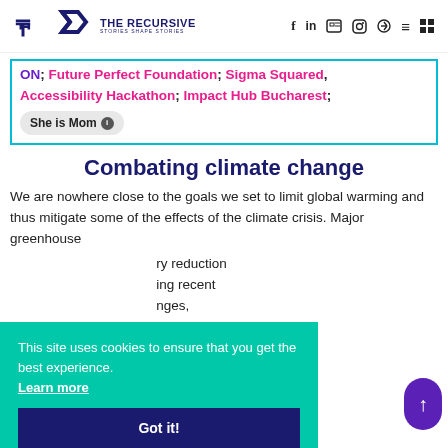THE RECURSIVE — STORIES SHAPE STORIES
ON; Future Perfect Foundation; Sigma Squared; Accessibility Hackathon; Impact Hub Bucharest; She is Mom
Combating climate change
We are nowhere close to the goals we set to limit global warming and thus mitigate some of the effects of the climate crisis. Major greenhouse ... ry reduction ... ing recent ... nges, climate change is the most urgent.
This site uses cookies to ensure that you get the best experience. Learn more
Got it!